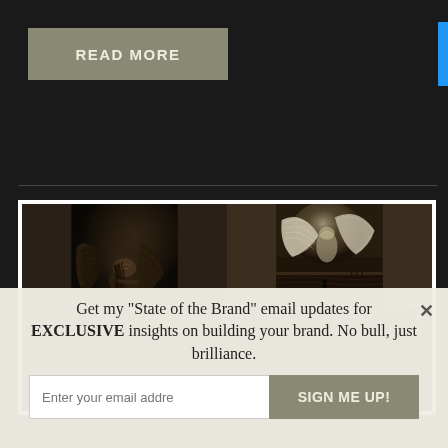READ MORE
[Figure (photo): Two dark angel artworks arranged in a 2x2 grid. Top left: a dark figure of a woman angel with wings bowed down in a contemplative or sorrowful pose. Top right: a large bright luminous angel with spread wings looking down at a small dark human figure below, dramatic cloudy sky background. Bottom row partially visible.]
Get my "State of the Brand" email updates for EXCLUSIVE insights on building your brand. No bull, just brilliance.
Enter your email addre
SIGN ME UP!